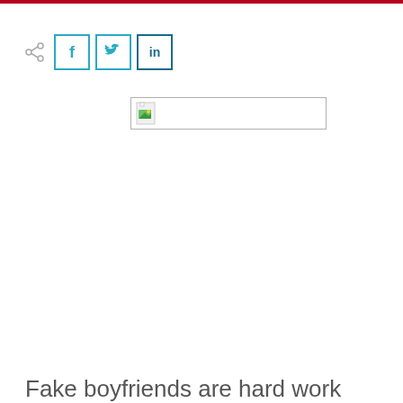[Figure (other): Social share icons row: share icon, Facebook button (f), Twitter button (bird), LinkedIn button (in)]
[Figure (other): Broken/placeholder image thumbnail in a rectangular border]
Fake boyfriends are hard work